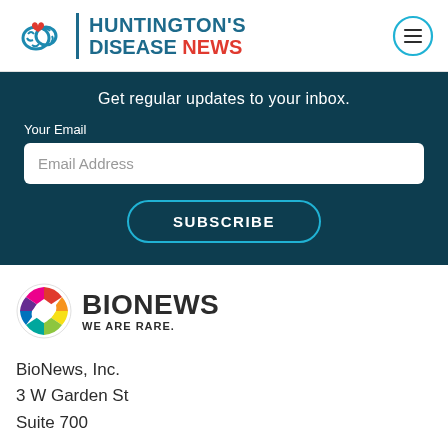[Figure (logo): Huntington's Disease News logo with brain icon, site title, and hamburger menu button]
Get regular updates to your inbox.
Your Email
Email Address
SUBSCRIBE
[Figure (logo): BioNews - We Are Rare. logo with colorful circular icon]
BioNews, Inc.
3 W Garden St
Suite 700